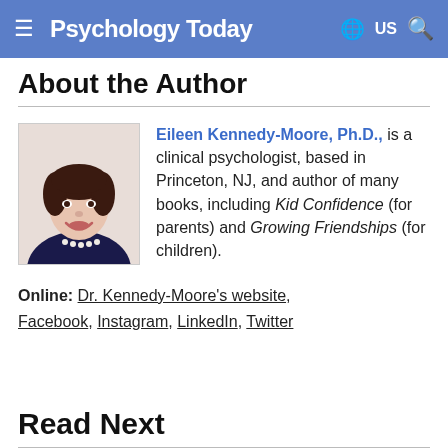Psychology Today — US
About the Author
[Figure (photo): Headshot photo of Eileen Kennedy-Moore, Ph.D., a woman with short dark hair, smiling, wearing a dark top and pearl necklace.]
Eileen Kennedy-Moore, Ph.D., is a clinical psychologist, based in Princeton, NJ, and author of many books, including Kid Confidence (for parents) and Growing Friendships (for children).
Online: Dr. Kennedy-Moore's website, Facebook, Instagram, LinkedIn, Twitter
Read Next